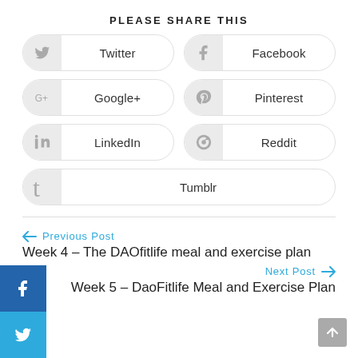PLEASE SHARE THIS
[Figure (infographic): Social share buttons: Twitter, Facebook, Google+, Pinterest, LinkedIn, Reddit, Tumblr]
← Previous Post
Week 4 – The DAOfitlife meal and exercise plan
Next Post →
Week 5 – DaoFitlife Meal and Exercise Plan